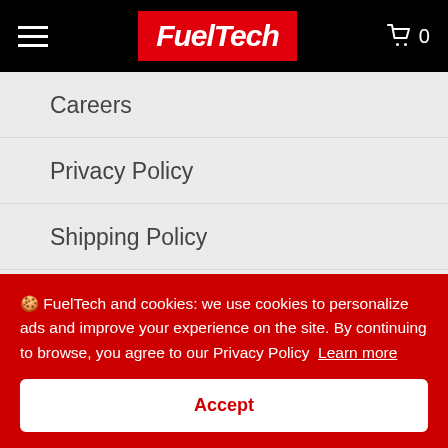FuelTech — navigation header with hamburger menu, FuelTech logo, and cart (0)
Careers
Privacy Policy
Shipping Policy
Refund Policy
Terms of Service (partially visible)
🍪 FuelTech and cookies: we use cookies to personalize ads and improve your experience on the site. By continuing to browse, you agree to our Privacy Policy  Learn more
Accept